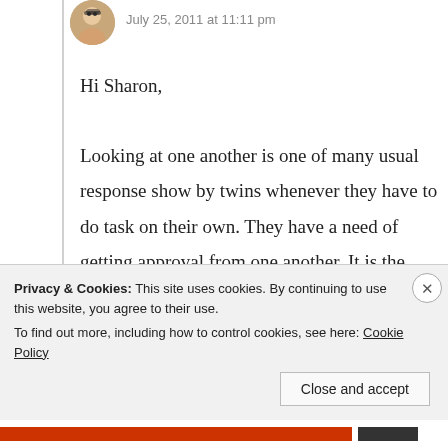July 25, 2011 at 11:11 pm
Hi Sharon,

Looking at one another is one of many usual response show by twins whenever they have to do task on their own. They have a need of getting approval from one another. It is the mystery of twins!

But it doesn't mean that parents can't
Privacy & Cookies: This site uses cookies. By continuing to use this website, you agree to their use.
To find out more, including how to control cookies, see here: Cookie Policy
Close and accept